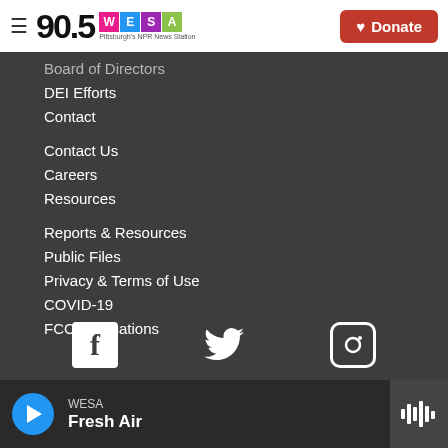90.5 WESA Pittsburgh's NPR News Station | Donate
Board of Directors
DEI Efforts
Contact
Contact Us
Careers
Resources
Reports & Resources
Public Files
Privacy & Terms of Use
COVID-19
FCC Applications
[Figure (logo): Social media icons: Facebook, Twitter, Instagram]
WESA Fresh Air